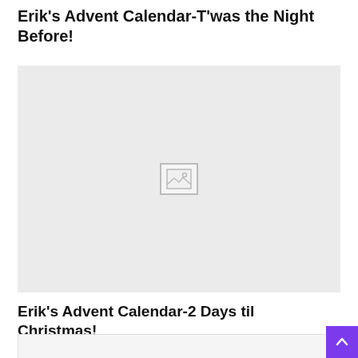Erik's Advent Calendar-T'was the Night Before!
[Figure (photo): Placeholder image box with broken image icon, light gray background]
Erik's Advent Calendar-2 Days til Christmas!
[Figure (photo): Partially visible placeholder image box at the bottom of the page]